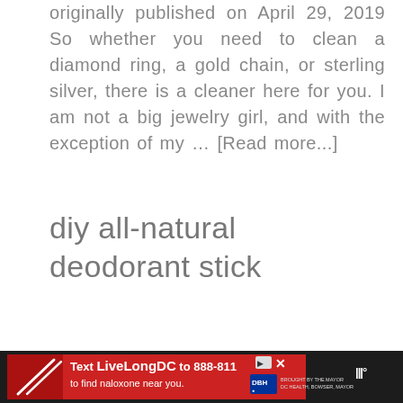originally published on April 29, 2019 So whether you need to clean a diamond ring, a gold chain, or sterling silver, there is a cleaner here for you. I am not a big jewelry girl, and with the exception of my … [Read more...]
diy all-natural deodorant stick
[Figure (infographic): Advertisement banner at bottom: dark background with red ad panel. Text reads 'Text LiveLongDC to 888-811 to find naloxone near you.' with DHH logo. Weather app icon visible on right side.]